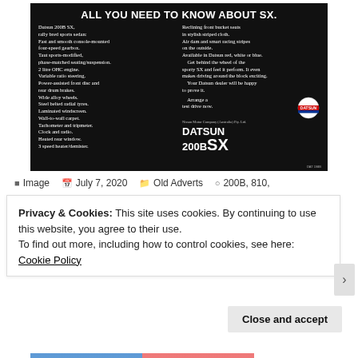[Figure (photo): Vintage Datsun 200B SX advertisement on black background with white text listing car features, Datsun logo circle, and large 'DATSUN 200B SX' branding]
Image  July 7, 2020  Old Adverts  200B, 810,
Privacy & Cookies: This site uses cookies. By continuing to use this website, you agree to their use.
To find out more, including how to control cookies, see here: Cookie Policy
Close and accept